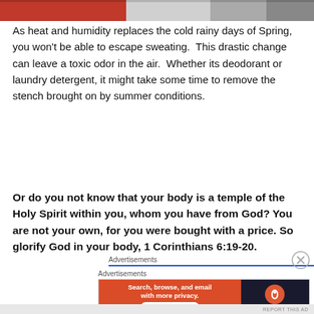[Figure (photo): Partial image at top of page showing red and gray tones, cropped]
As heat and humidity replaces the cold rainy days of Spring, you won't be able to escape sweating.  This drastic change can leave a toxic odor in the air.  Whether its deodorant or laundry detergent, it might take some time to remove the stench brought on by summer conditions.
Or do you not know that your body is a temple of the Holy Spirit within you, whom you have from God? You are not your own, for you were bought with a price. So glorify God in your body, 1 Corinthians 6:19-20.
Advertisements
Advertisements
[Figure (screenshot): DuckDuckGo advertisement banner: 'Search, browse, and email with more privacy. All in One Free App' with DuckDuckGo logo on dark background]